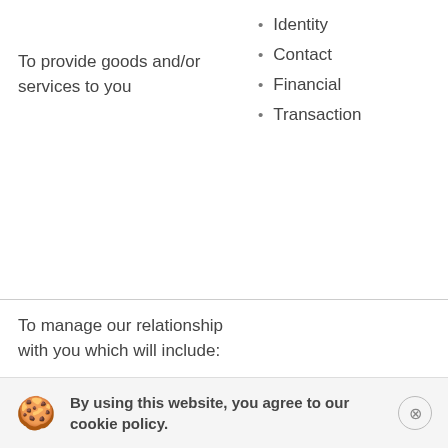To provide goods and/or services to you
Identity
Contact
Financial
Transaction
of a c with y Nece our le intere opera busin
To manage our relationship with you which will include:
Notifying you about changes
Identity
Contact
Profile
Marketing and
Perfo of a c with y Nece mp gal obliga
By using this website, you agree to our cookie policy.